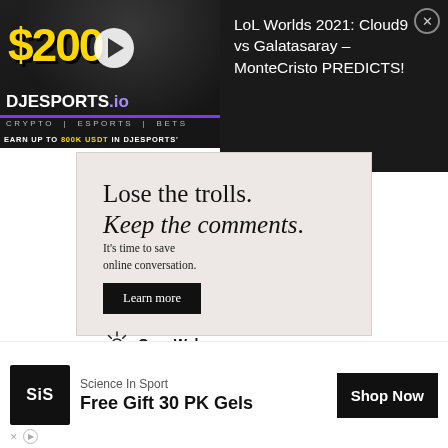[Figure (screenshot): DJEsports.io video advertisement banner showing '$200' in gold text, a play button, DJESports.io logo with crypto/esports/bets tagline, and 'EARN UP TO 800K USDT IN DJESPORTS' text on dark background]
LoL Worlds 2021: Cloud9 vs Galatasaray – MonteCristo PREDICTS!
[Figure (screenshot): OpenWeb advertisement: 'Lose the trolls. Keep the comments.' with 'It's time to save online conversation.' text, Learn more button, and OpenWeb logo on light pink/beige background]
[Figure (screenshot): Science In Sport advertisement: SiS logo, 'Free Gift 30 PK Gels', Shop Now button on white background]